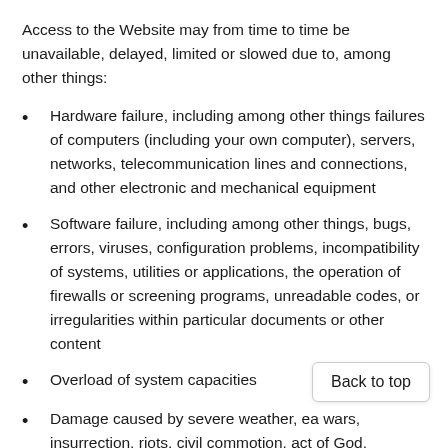Access to the Website may from time to time be unavailable, delayed, limited or slowed due to, among other things:
Hardware failure, including among other things failures of computers (including your own computer), servers, networks, telecommunication lines and connections, and other electronic and mechanical equipment
Software failure, including among other things, bugs, errors, viruses, configuration problems, incompatibility of systems, utilities or applications, the operation of firewalls or screening programs, unreadable codes, or irregularities within particular documents or other content
Overload of system capacities
Damage caused by severe weather, ea wars, insurrection, riots, civil commotion, act of God,